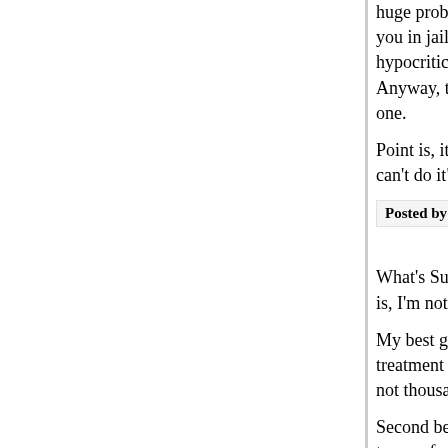huge problem. If not... well, even then torturing you in jail now because we don't want you free to hypocritical. Just murder him already. Anyway, the "keeping him off the streets" reason one.
Point is, it's not a legal nicety of "he should be in j can't do it". If he was tortured, he shouldn't go to j
Posted by: Caravelle | January 14, 2009 at 04:46 PM
What's Susan Crawford's objective here? Sorry, a is, I'm not giving any benefits of the doubt.
My best guess: To project that only Qahtani and a treatment that "met the legal definition of torture". not thousands, have been tortured.
Second best guess: To tie the can to a man who's terms of an actual threat of attack against America return to the battlefield" noise machine is going, a Obama for continuing to hold him and coming up chamber "court" in which to try him.
Probably both.